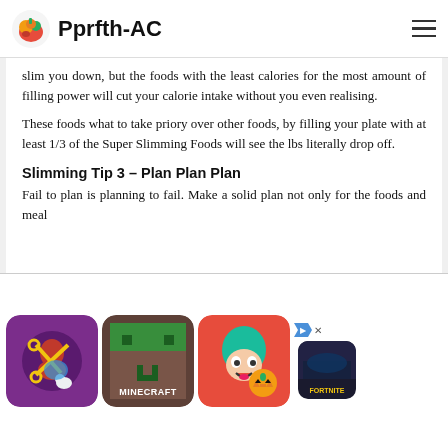Pprfth-AC
slim you down, but the foods with the least calories for the most amount of filling power will cut your calorie intake without you even realising.
These foods what to take priory over other foods, by filling your plate with at least 1/3 of the Super Slimming Foods will see the lbs literally drop off.
Slimming Tip 3 – Plan Plan Plan
Fail to plan is planning to fail. Make a solid plan not only for the foods and meal
[Figure (screenshot): Advertisement banner showing mobile game icons: a scissors/crafting game, Minecraft, a Toca Boca character, and a Fortnite thumbnail, with ad disclosure arrow icon and close button.]